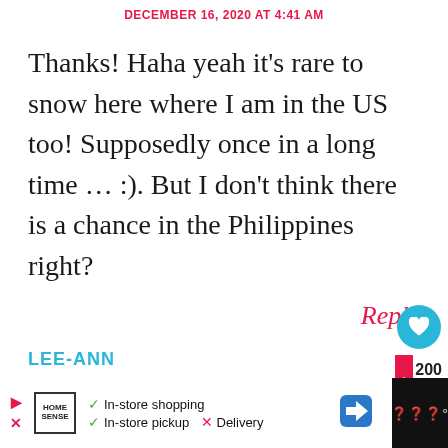DECEMBER 16, 2020 AT 4:41 AM
Thanks! Haha yeah it's rare to snow here where I am in the US too! Supposedly once in a long time … :). But I don't think there is a chance in the Philippines right?
Reply
200
LEE-ANN
[Figure (screenshot): Advertisement bar at the bottom: Home Sense ad with checkmarks for In-store shopping and In-store pickup, X for Delivery, navigation icon, and WW logo on right.]